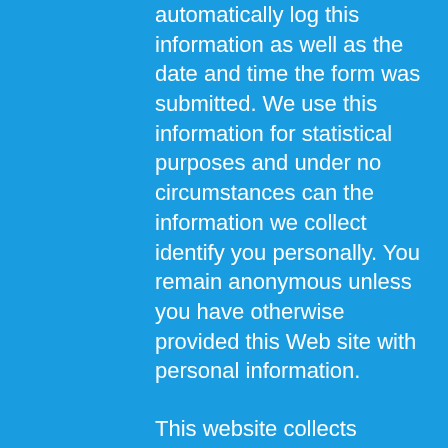automatically log this information as well as the date and time the form was submitted. We use this information for statistical purposes and under no circumstances can the information we collect identify you personally. You remain anonymous unless you have otherwise provided this Web site with personal information.
This website collects personal information only when voluntarily submitted by the site visitor. This information is used only for one purpose: To follow up on a request for additional communication. The Pool Management Group promises never to sell or share this information with others except to comply with legal requirements such as a law, regulation, search warrant, subpoena or court order; or